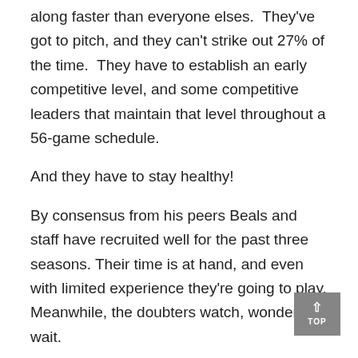along faster than everyone elses. They've got to pitch, and they can't strike out 27% of the time. They have to establish an early competitive level, and some competitive leaders that maintain that level throughout a 56-game schedule.
And they have to stay healthy!
By consensus from his peers Beals and staff have recruited well for the past three seasons. Their time is at hand, and even with limited experience they're going to play. Meanwhile, the doubters watch, wonder…wait.
No more fall ball, it's full go for 2022 – non-conference games, mid-week games, and old expectation.